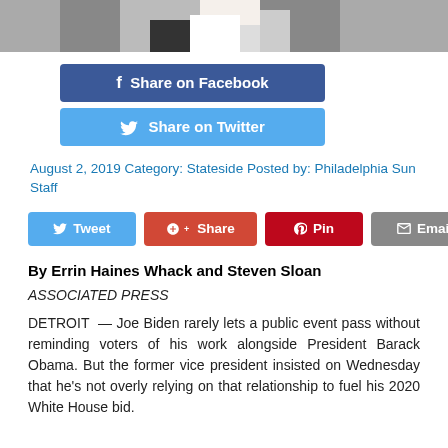[Figure (photo): Cropped photo showing two people in suits at a public event, partial view of torsos and hands]
[Figure (infographic): Share on Facebook button (blue) and Share on Twitter button (light blue)]
August 2, 2019 Category: Stateside Posted by: Philadelphia Sun Staff
[Figure (infographic): Social share buttons: Tweet (blue), Share (red/Google+), Pin (red/Pinterest), Email (gray)]
By Errin Haines Whack and Steven Sloan
ASSOCIATED PRESS
DETROIT  — Joe Biden rarely lets a public event pass without reminding voters of his work alongside President Barack Obama. But the former vice president insisted on Wednesday that he's not overly relying on that relationship to fuel his 2020 White House bid.